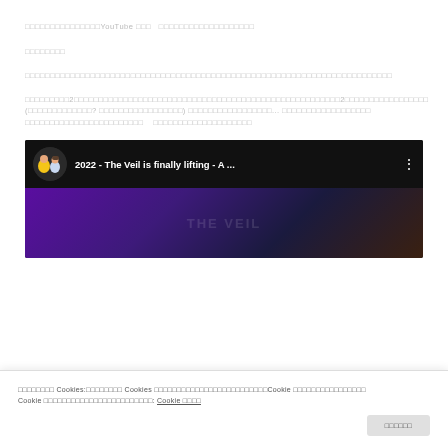□□□□□□□□□□□□□□□YouTube □□□   □□□□□□□□□□□□□□□□□□□
□□□□□□□□
□□□□□□□□□□□□□□□□□□□□□□□□□□□□□□□□□□□□□□□□□□□□□□□□□□□□□□□□□□□□□□□□□□□□□□□
□□□□□□□□□2□□□□□□□□□□□□□□□□□□□□□□□□□□□□□□□□□□□□□□□□□□□□□□□□□□□□□□2□□□□□□□□□□□□□□□□□ (□□□□□□□□□□□□□? □□□□□□□□□□□□□□□□□) □□□□□□□□□□□□□□□□□... □□□□□□□□□□□□□□□□□□ □□□□□□□□□□□□□□□□□□□□□□□□□    □□□□□□□□□□□□□□□□□□□□
[Figure (screenshot): YouTube video embed showing '2022 - The Veil is finally lifting - A ...' with channel avatar showing a couple, on a dark/purple cosmic background thumbnail]
□□□□□□□□ Cookies:□□□□□□□□ Cookies □□□□□□□□□□□□□□□□□□□□□□□□□Cookie □□□□□□□□□□□□□□□□ Cookie □□□□□□□□□□□□□□□□□□□□□□□□: Cookie □□□□